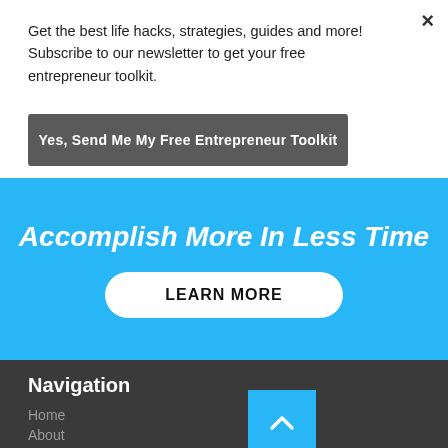Get the best life hacks, strategies, guides and more! Subscribe to our newsletter to get your free entrepreneur toolkit.
Yes, Send Me My Free Entrepreneur Toolkit
Accomplish More In Less Time
LEARN MORE
Navigation
Home
About